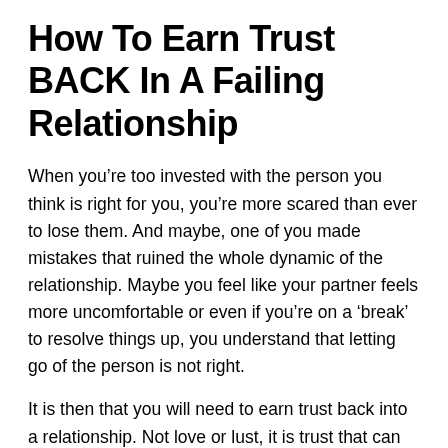How To Earn Trust BACK In A Failing Relationship
When you’re too invested with the person you think is right for you, you’re more scared than ever to lose them. And maybe, one of you made mistakes that ruined the whole dynamic of the relationship. Maybe you feel like your partner feels more uncomfortable or even if you’re on a ‘break’ to resolve things up, you understand that letting go of the person is not right.
It is then that you will need to earn trust back into a relationship. Not love or lust, it is trust that can help you be back with the one person you want to spend your life with.
At the start, it may seem like too much effort, but it does bore an ever-rewarding fruit in the long run.